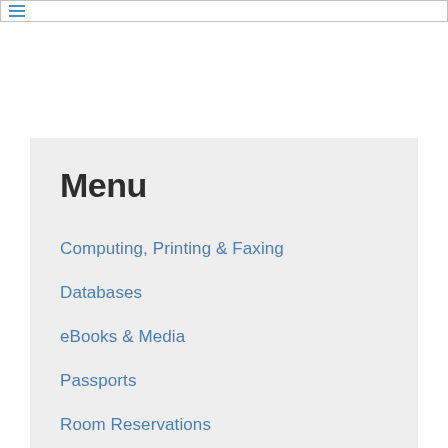Menu
Computing, Printing & Faxing
Databases
eBooks & Media
Passports
Room Reservations
Special Collections